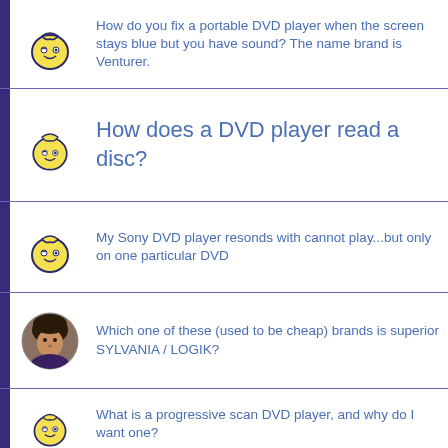How do you fix a portable DVD player when the screen stays blue but you have sound? The name brand is Venturer.
How does a DVD player read a disc?
My Sony DVD player resonds with cannot play...but only on one particular DVD
Which one of these (used to be cheap) brands is superior SYLVANIA / LOGIK?
What is a progressive scan DVD player, and why do I want one?